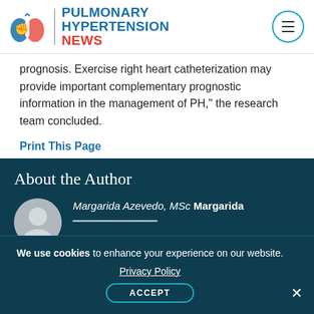Pulmonary Hypertension News
prognosis. Exercise right heart catheterization may provide important complementary prognostic information in the management of PH," the research team concluded.
Print This Page
About the Author
Margarida Azevedo, MSc Margarida
We use cookies to enhance your experience on our website. Privacy Policy ACCEPT